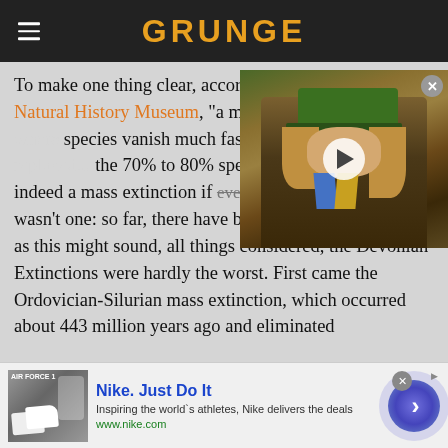GRUNGE
To make one thing clear, according to the British Natural History Museum, "a mass extinction is an event where species vanish much faster than they are replaced ... the 70% to 80% species die off threshold ... is indeed a mass extinction if ever there was one. But there wasn't one: so far, there have been five. And as shocking as this might sound, all things considered, the Devonian Extinctions were hardly the worst. First came the Ordovician-Silurian mass extinction, which occurred about 443 million years ago and eliminated
[Figure (screenshot): Video overlay thumbnail showing a person wearing a green hat and striped tie, with a play button in the center and a close (X) button in the top right]
[Figure (screenshot): Advertisement banner for Nike. Just Do It with shoe image on the left, ad text in center, and a blue circular arrow button on the right]